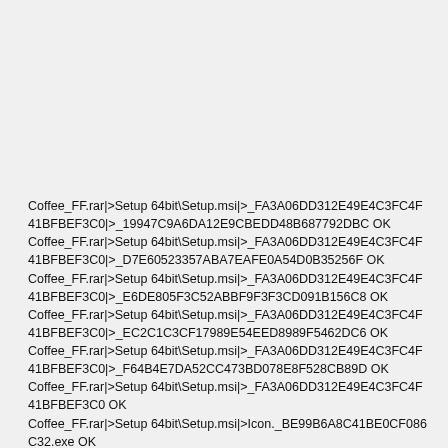Coffee_FF.rar|>Setup 64bit\Setup.msi|>_FA3A06DD312E49E4C3FC4F41BFBEF3C0|>_19947C9A6DA12E9CBEDD48B687792DBC OK
Coffee_FF.rar|>Setup 64bit\Setup.msi|>_FA3A06DD312E49E4C3FC4F41BFBEF3C0|>_D7E60523357ABA7EAFE0A54D0B35256F OK
Coffee_FF.rar|>Setup 64bit\Setup.msi|>_FA3A06DD312E49E4C3FC4F41BFBEF3C0|>_E6DE805F3C52ABBF9F3F3CD091B156C8 OK
Coffee_FF.rar|>Setup 64bit\Setup.msi|>_FA3A06DD312E49E4C3FC4F41BFBEF3C0|>_EC2C1C3CF17989E54EED8989F5462DC6 OK
Coffee_FF.rar|>Setup 64bit\Setup.msi|>_FA3A06DD312E49E4C3FC4F41BFBEF3C0|>_F64B4E7DA52CC473BD078E8F528CB89D OK
Coffee_FF.rar|>Setup 64bit\Setup.msi|>_FA3A06DD312E49E4C3FC4F41BFBEF3C0 OK
Coffee_FF.rar|>Setup 64bit\Setup.msi|>Icon._BE99B6A8C41BE0CF086C32.exe OK
Coffee_FF.rar|>Setup 64bit\Setup.msi|>01InstallExecuteSequence OK
Coffee_FF.rar|>Setup 64bit\Setup.msi|>Binary.MSVBDPCADLL OK